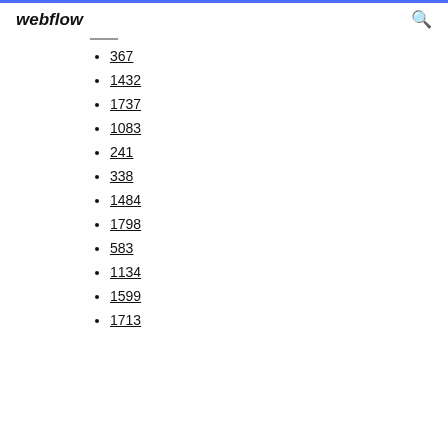webflow
367
1432
1737
1083
241
338
1484
1798
583
1134
1599
1713